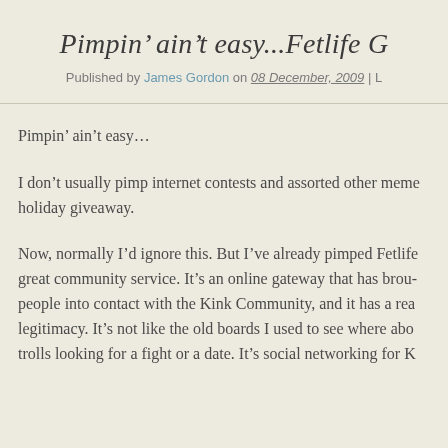Pimpin’ ain’t easy...Fetlife G
Published by James Gordon on 08 December, 2009 | L
Pimpin’ ain’t easy…
I don’t usually pimp internet contests and assorted other meme holiday giveaway.
Now, normally I’d ignore this. But I’ve already pimped Fetlife great community service. It’s an online gateway that has brought people into contact with the Kink Community, and it has a rea legitimacy. It’s not like the old boards I used to see where abo trolls looking for a fight or a date. It’s social networking for K